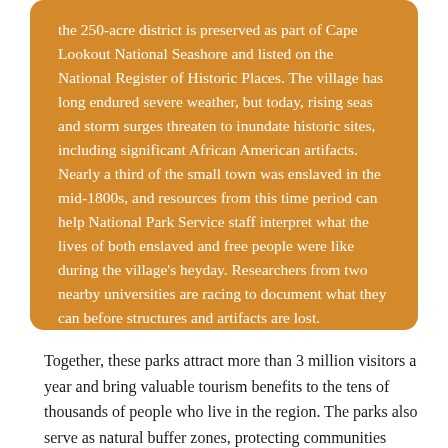the 250-acre district is preserved as part of Cape Lookout National Seashore and listed on the National Register of Historic Places. The village has long endured severe weather, but today, rising seas and storm surges threaten to inundate historic sites, including significant African American artifacts. Nearly a third of the small town was enslaved in the mid-1800s, and resources from this time period can help National Park Service staff interpret what the lives of both enslaved and free people were like during the village's heyday. Researchers from two nearby universities are racing to document what they can before structures and artifacts are lost.
Together, these parks attract more than 3 million visitors a year and bring valuable tourism benefits to the tens of thousands of people who live in the region. The parks also serve as natural buffer zones, protecting communities from bearing the brunt of severe storms —